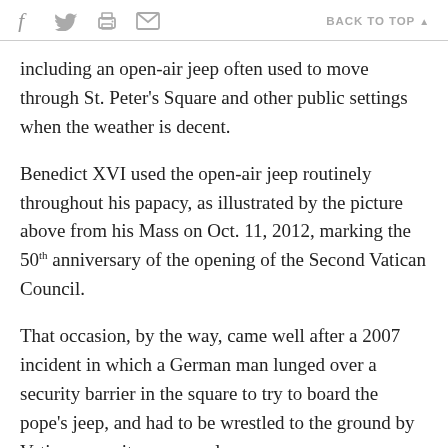f [twitter] [print] [email]  BACK TO TOP ▲
including an open-air jeep often used to move through St. Peter's Square and other public settings when the weather is decent.
Benedict XVI used the open-air jeep routinely throughout his papacy, as illustrated by the picture above from his Mass on Oct. 11, 2012, marking the 50th anniversary of the opening of the Second Vatican Council.
That occasion, by the way, came well after a 2007 incident in which a German man lunged over a security barrier in the square to try to board the pope's jeep, and had to be wrestled to the ground by Vatican security personnel.
While Francis does have a more pastoral and less professorial air, his presence in that jeep was hardly